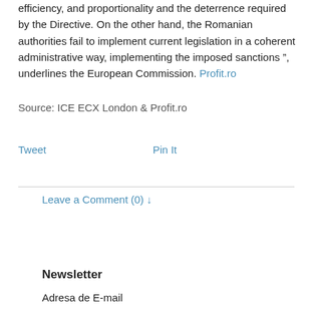efficiency, and proportionality and the deterrence required by the Directive. On the other hand, the Romanian authorities fail to implement current legislation in a coherent administrative way, implementing the imposed sanctions”, underlines the European Commission. Profit.ro
Source: ICE ECX London & Profit.ro
Tweet   Pin It
Leave a Comment (0) ↓
Newsletter
Adresa de E-mail